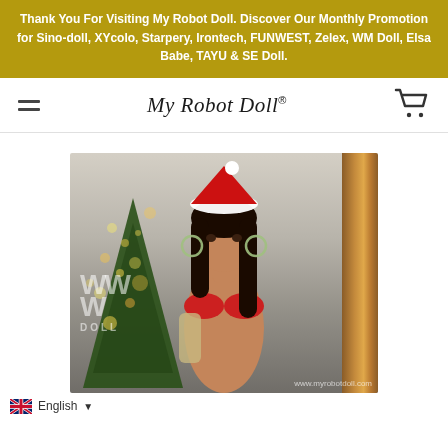Thank You For Visiting My Robot Doll. Discover Our Monthly Promotion for Sino-doll, XYcolo, Starpery, Irontech, FUNWEST, Zelex, WM Doll, Elsa Babe, TAYU & SE Doll.
My Robot Doll®
[Figure (photo): Product photo of a WM Doll figure wearing a Santa hat and red bikini, posed in front of a Christmas tree with bokeh lights and a wooden frame backdrop. WM Doll watermark visible. URL watermark: www.myrobotdoll.com]
English